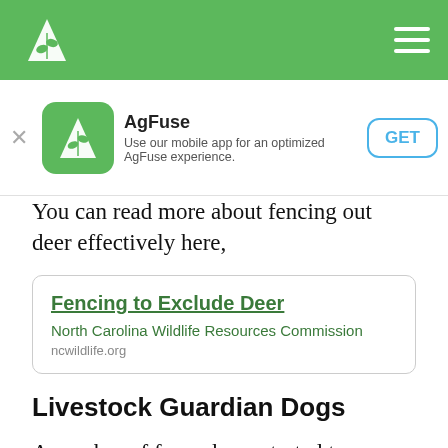AgFuse navigation bar
[Figure (screenshot): AgFuse mobile app download banner with app icon, name, description and GET button]
You can read more about fencing out deer effectively here,
Fencing to Exclude Deer
North Carolina Wildlife Resources Commission
ncwildlife.org
Livestock Guardian Dogs
A number of farms have started to employ their livestock guardian dogs (LGDs) to also